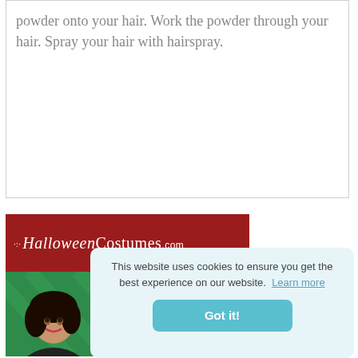powder onto your hair. Work the powder through your hair. Spray your hair with hairspray.
[Figure (illustration): HalloweenCostumes.com advertisement banner showing three people in costumes against a green background, with a red header bar containing the HalloweenCostumes.com logo]
This website uses cookies to ensure you get the best experience on our website. Learn more